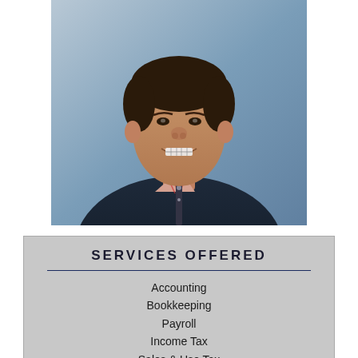[Figure (photo): Professional headshot of a smiling man wearing a navy blue quarter-zip fleece over a plaid collar shirt, photographed against a blue-grey background.]
SERVICES OFFERED
Accounting
Bookkeeping
Payroll
Income Tax
Sales & Use Tax
Business Consulting